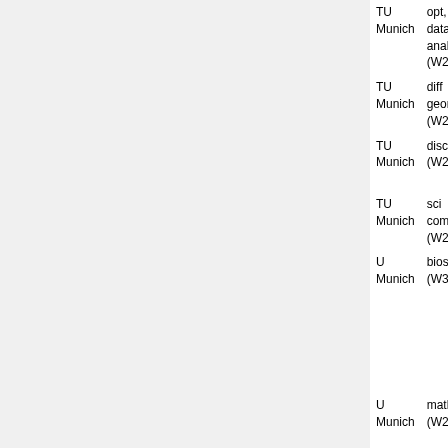| Institution | Field/Level | Date | Candidates |
| --- | --- | --- | --- |
| TU Munich | opt, data anal (W2/tt) | Apr 30, 2013 |  |
| TU Munich | diff geom (W2/tt) | Jan 30, 2014 |  |
| TU Munich | discrete (W2/tt) | May 5, 2014 |  |
| TU Munich | sci comp (W2/tt) | May 5, 2014 |  |
| U Munich | biostat (W3) | 2010 | Wol... Hub... Ank... Bee... Ann... Bou... Mar... Fab... |
| U Munich | math (W2/tt) | Nov 1, 2012 | Thomas Vogt... |
| U Munich | anal (W2, 5y) | Nov 9, 2012 | Sve... Bac... [91] |
| U Munich | stoch (W2/tt) | Feb 21, 2013 |  |